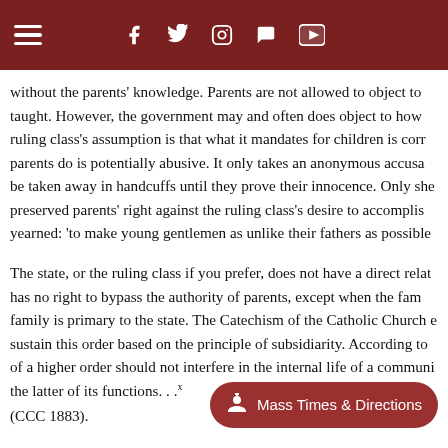Navigation header with hamburger menu and social media icons (Facebook, Twitter, Instagram, Chat, YouTube)
without the parents' knowledge. Parents are not allowed to object to taught. However, the government may and often does object to how ruling class's assumption is that what it mandates for children is cor parents do is potentially abusive. It only takes an anonymous accusa be taken away in handcuffs until they prove their innocence. Only she preserved parents' right against the ruling class's desire to accomplis yearned: 'to make young gentlemen as unlike their fathers as possible
The state, or the ruling class if you prefer, does not have a direct relat has no right to bypass the authority of parents, except when the fam family is primary to the state. The Catechism of the Catholic Church e sustain this order based on the principle of subsidiarity. According to of a higher order should not interfere in the internal life of a communi the latter of its functions. . .ˣ
(CCC 1883).